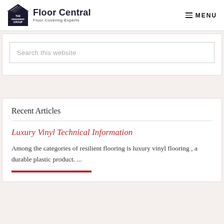Floor Central — Floor Covering Experts | MENU
Search this website
Recent Articles
Luxury Vinyl Technical Information
Among the categories of resilient flooring is luxury vinyl flooring , a durable plastic product. ...